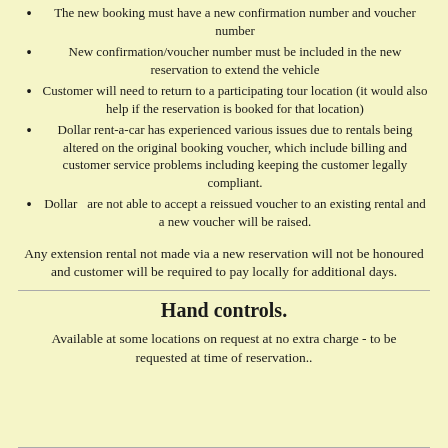The new booking must have a new confirmation number and voucher number
New confirmation/voucher number must be included in the new reservation to extend the vehicle
Customer will need to return to a participating tour location (it would also help if the reservation is booked for that location)
Dollar rent-a-car has experienced various issues due to rentals being altered on the original booking voucher, which include billing and customer service problems including keeping the customer legally compliant.
Dollar  are not able to accept a reissued voucher to an existing rental and a new voucher will be raised.
Any extension rental not made via a new reservation will not be honoured and customer will be required to pay locally for additional days.
Hand controls.
Available at some locations on request at no extra charge - to be requested at time of reservation..